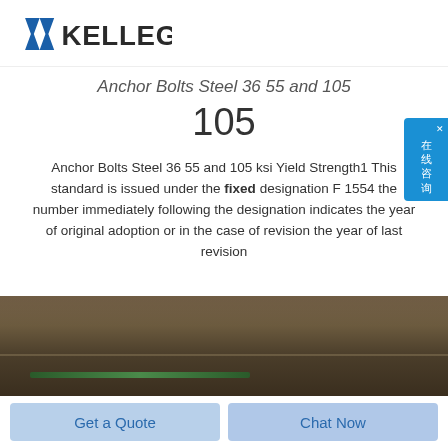KELLEG
Anchor Bolts Steel 36 55 and 105
105
Anchor Bolts Steel 36 55 and 105 ksi Yield Strength1 This standard is issued under the fixed designation F 1554 the number immediately following the designation indicates the year of original adoption or in the case of revision the year of last revision
[Figure (photo): Sepia-toned photograph of industrial steel structure interior, showing beams and structural elements with a green light element at bottom]
Get a Quote
Chat Now